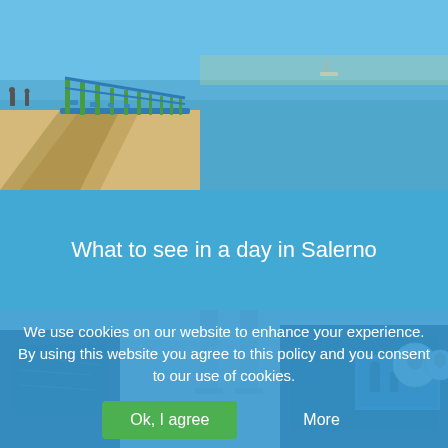[Figure (photo): Outdoor waterfront promenade with green metal railings, blue water in background, sunny day, people visible in distance]
What to see in a day in Salerno
[Figure (photo): Interior of a museum or gallery with dark display panels showing artwork and photographs, white walls and columns]
We use cookies on our website to enhance your experience. By using this website you agree to this policy and you consent to our use of cookies.
Ok, I agree
More